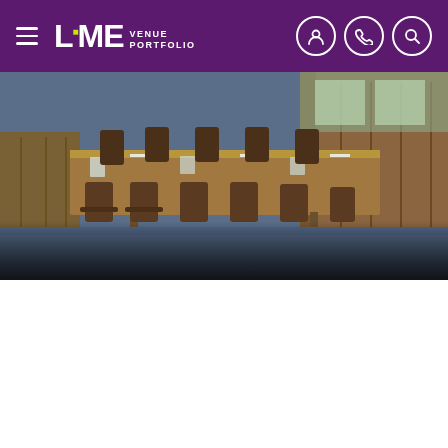LIME VENUE PORTFOLIO
[Figure (photo): Conference room with a long wooden table surrounded by chairs, wood-panelled walls, blue carpet.]
MEETING ROOM HIRE IN
We use cookies
We use cookies to improve content and to analyze web traffic. Read our cookies policy
Accept cookies
Contact   Reject